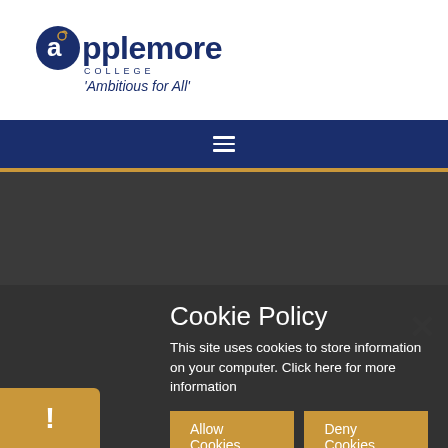[Figure (logo): Applemore College logo with apple icon, text 'applemore COLLEGE' and tagline 'Ambitious for All']
[Figure (screenshot): Dark navy navigation bar with hamburger menu icon (three horizontal lines)]
Cookie Policy
This site uses cookies to store information on your computer. Click here for more information
Allow Cookies
Deny Cookies